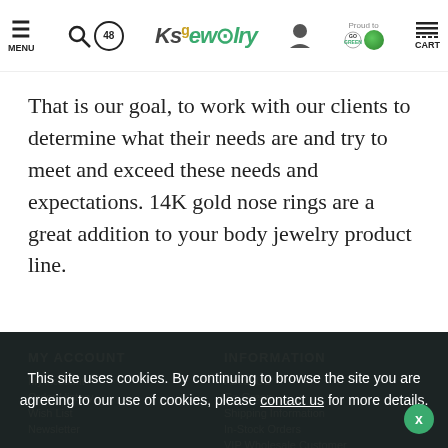MENU | [search] | 48 | KsJewelry | [account icon] | GO GREEN | CART
That is our goal, to work with our clients to determine what their needs are and try to meet and exceed these needs and expectations. 14K gold nose rings are a great addition to your body jewelry product line.
MY ACCOUNT
My Account
Order History
Wish List
Newsletter
INFORMATION
About US
Go Green
Shipping Information
In-Stock Orders
VIP Wholesale Customer
Privacy Policy
This site uses cookies. By continuing to browse the site you are agreeing to our use of cookies, please contact us for more details.